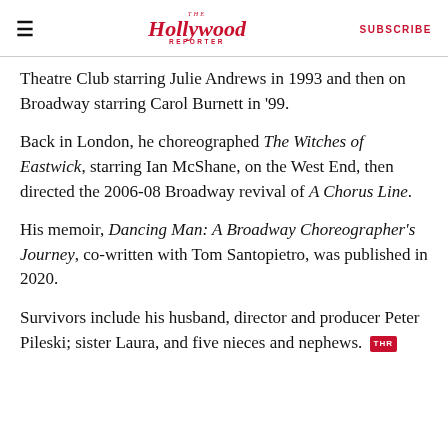≡  The Hollywood Reporter  SUBSCRIBE
Theatre Club starring Julie Andrews in 1993 and then on Broadway starring Carol Burnett in '99.
Back in London, he choreographed The Witches of Eastwick, starring Ian McShane, on the West End, then directed the 2006-08 Broadway revival of A Chorus Line.
His memoir, Dancing Man: A Broadway Choreographer's Journey, co-written with Tom Santopietro, was published in 2020.
Survivors include his husband, director and producer Peter Pileski; sister Laura, and five nieces and nephews. THR